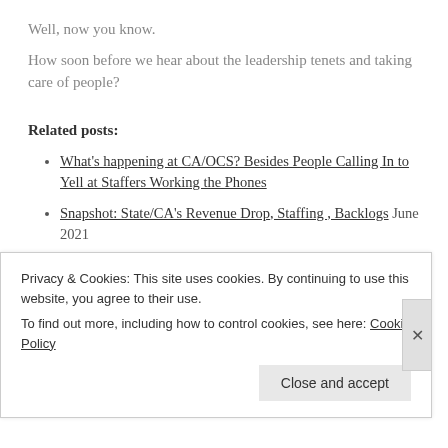Well, now you know.
How soon before we hear about the leadership tenets and taking care of people?
Related posts:
What's happening at CA/OCS? Besides People Calling In to Yell at Staffers Working the Phones
Snapshot: State/CA's Revenue Drop, Staffing , Backlogs June 2021
@StateDept Projects Over $1.4Billion Loss in Consular Fees This Fiscal Year, Plus Comparable Losses Next FYs July 2020
State/CA: Hundreds of American Travelers Stuck Overseas Due to COVID19 Travel Restrictions March 2020
Privacy & Cookies: This site uses cookies. By continuing to use this website, you agree to their use.
To find out more, including how to control cookies, see here: Cookie Policy